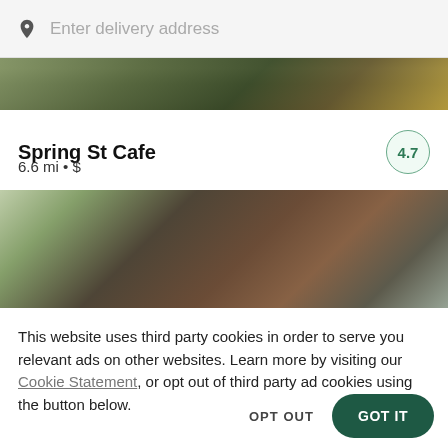Enter delivery address
[Figure (photo): Partial food image strip at top showing plates with salads and eggs]
Spring St Cafe
6.6 mi • $
[Figure (photo): Food image showing salad bowl and stew dishes on a table]
This website uses third party cookies in order to serve you relevant ads on other websites. Learn more by visiting our Cookie Statement, or opt out of third party ad cookies using the button below.
OPT OUT
GOT IT